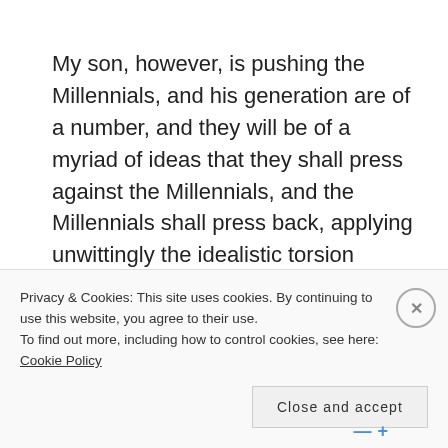My son, however, is pushing the Millennials, and his generation are of a number, and they will be of a myriad of ideas that they shall press against the Millennials, and the Millennials shall press back, applying unwittingly the idealistic torsion forces which will shatter that infuriating optimism, as ours shattered, and as did the Boomers' before us, and as it was for every generation whose parents sinned
Privacy & Cookies: This site uses cookies. By continuing to use this website, you agree to their use. To find out more, including how to control cookies, see here: Cookie Policy
Close and accept